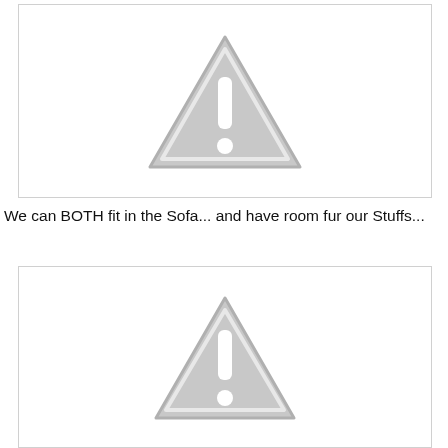[Figure (other): Grey warning/caution triangle icon with exclamation mark, placeholder image]
We can BOTH fit in the Sofa... and have room fur our Stuffs...
[Figure (other): Grey warning/caution triangle icon with exclamation mark, placeholder image]